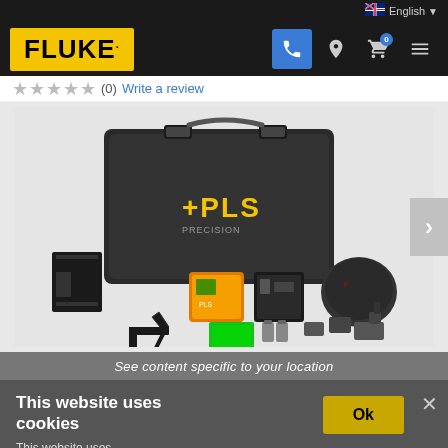[Figure (screenshot): Fluke website navigation bar with yellow Fluke logo on black background, phone icon (active/blue), location pin icon, shopping cart icon with 0 badge, hamburger menu icon, and English language selector with Australian flag in top right]
(0)  Write a review
[Figure (photo): PLS laser level product kit contents displayed on grey background: black hard-shell PLS branded carry case, orange cross-line laser device, laser receiver/detector, black wall bracket mount, hex key, batteries, green laser target plate, soft pouch case, power adapter with multiple plug heads]
See content specific to your location
This website uses cookies
Ok
This website uses